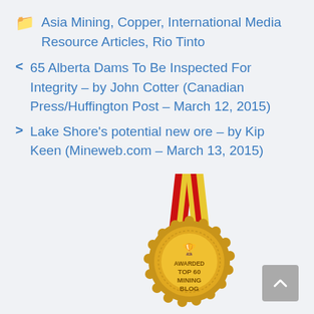Asia Mining, Copper, International Media Resource Articles, Rio Tinto
65 Alberta Dams To Be Inspected For Integrity – by John Cotter (Canadian Press/Huffington Post – March 12, 2015)
Lake Shore's potential new ore – by Kip Keen (Mineweb.com – March 13, 2015)
[Figure (illustration): Gold medal with red and gold ribbon awarded 'Top 60 Mining Blog' with a trophy icon in the center]